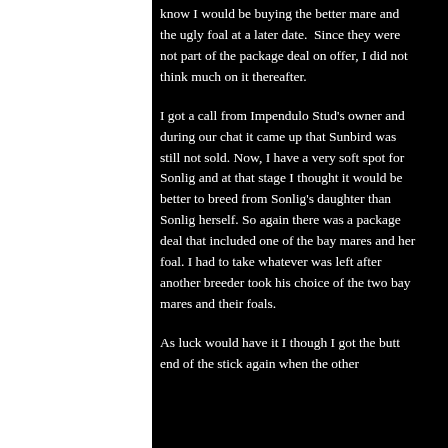know I would be buying the better mare and the ugly foal at a later date.  Since they were not part of the package deal on offer, I did not think much on it thereafter.
I got a call from Impendulo Stud's owner and during our chat it came up that Sunbird was still not sold. Now, I have a very soft spot for Sonlig and at that stage I thought it would be better to breed from Sonlig's daughter than Sonlig herself. So again there was a package deal that included one of the bay mares and her foal. I had to take whatever was left after another breeder took his choice of the two bay mares and their foals.
As luck would have it I though I got the butt end of the stick again when the other